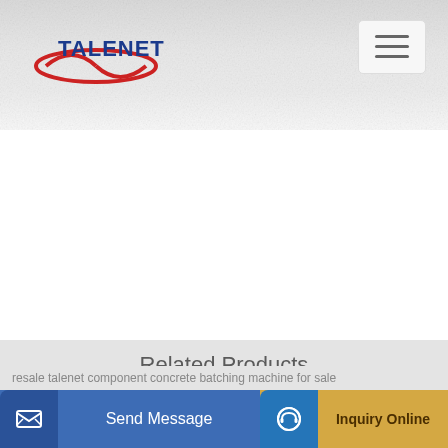[Figure (logo): TALENET company logo with red swoosh oval and blue text]
[Figure (screenshot): Hamburger menu button (three horizontal lines) in top right]
Related Products
janeoo concrete batching plant manufacturers factory
Mobile Asphalt Mixing Plant Speco in Factory Stock Now
resale Talenet component concrete batching machine for sale
Send Message
Inquiry Online